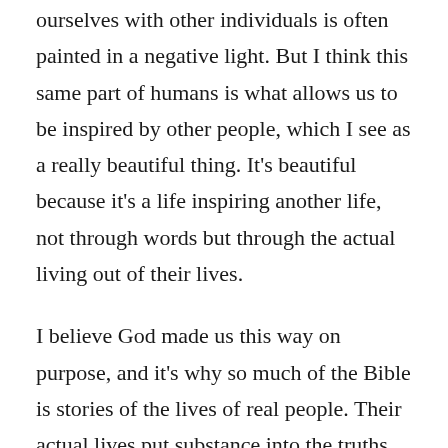ourselves with other individuals is often painted in a negative light. But I think this same part of humans is what allows us to be inspired by other people, which I see as a really beautiful thing. It's beautiful because it's a life inspiring another life, not through words but through the actual living out of their lives.

I believe God made us this way on purpose, and it's why so much of the Bible is stories of the lives of real people. Their actual lives put substance into the truths about God that their stories show. And the life of Jesus proves to me that this is how God designed us. God could have written a book, describing the attributes of himself, his kingdom and his